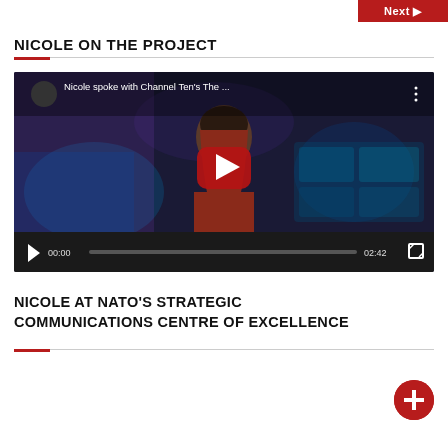Next ▶
NICOLE ON THE PROJECT
[Figure (screenshot): YouTube video thumbnail showing Nicole spoke with Channel Ten's The … with play button, video controls showing 00:00 / 02:42]
NICOLE AT NATO'S STRATEGIC COMMUNICATIONS CENTRE OF EXCELLENCE